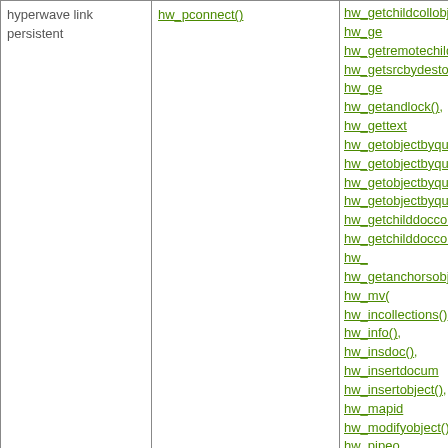| Extension | Connect function | Other functions |
| --- | --- | --- |
| hyperwave link persistent | hw_pconnect() | hw_getchildcollobj(), hw_getremotechildren(), hw_getsrcbydestobj(), hw_getandlock(), hw_gettext(), hw_getobjectbyquery(), hw_getobjectbyqueryobj(), hw_getobjectbyquerycoll(), hw_getobjectbyquerycollobj(), hw_getchilddoccoll(), hw_getchilddoccollobj(), hw_..., hw_getanchorsobj(), hw_mv(), hw_incollections(), hw_info(), hw_insdoc(), hw_insertdocument(), hw_insertobject(), hw_mapid(), hw_modifyobject(), hw_pipedoc(), hw_unlock(), hw_who(), hw_getusername() |
| icap | icap_open() | icap_fetch_event(), icap_list_events(), icap_store_event(), icap_snooze(), icap_list_alarms(), icap_delete_event() |
|  |  | imap_append(), imap_body(), imap_check(), imap_createmailbox(), imap_delete(), imap_deletemailbox(), imap_expunge(), imap_fetch_overview(), imap_fetchstructure(), imap_..., imap_header(), imap_headers(), imap_listmailbox(), imap_getmailboxes(), imap_get_quota(), imap_status(), imap_listsubscribed(), imap_... |